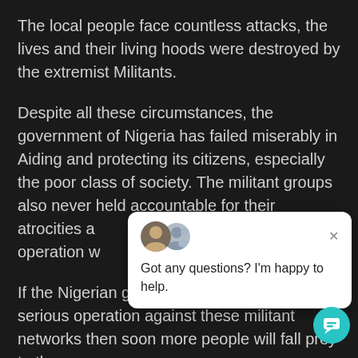The local people face countless attacks, the lives and their living hoods were destroyed by the extremist Militants.
Despite all these circumstances, the government of Nigeria has failed miserably in Aiding and protecting its citizens, especially the poor class of society. The militant groups also never held accountable for their atrocities and proper Anti-terrorism operation w[obscured by chat widget]
If the Nigerian govern[obscured] serious operation against these militant networks then soon more people will fall prey to these bloody beasts.